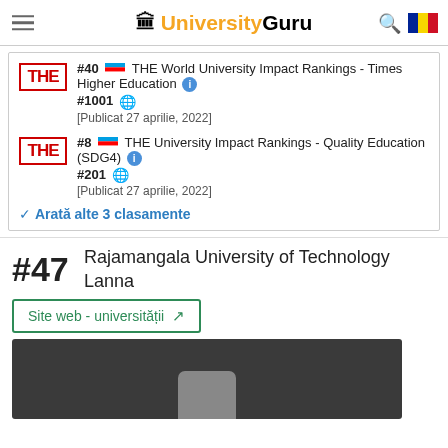UniversityGuru
#40 [Thailand flag] THE World University Impact Rankings - Times Higher Education [info] #1001 [globe] [Publicat 27 aprilie, 2022]
#8 [Thailand flag] THE University Impact Rankings - Quality Education (SDG4) [info] #201 [globe] [Publicat 27 aprilie, 2022]
✓ Arată alte 3 clasamente
#47 Rajamangala University of Technology Lanna
Site web - universității ↗
[Figure (photo): Dark background image with gray rounded rectangle shape at bottom center, representing university photo placeholder]